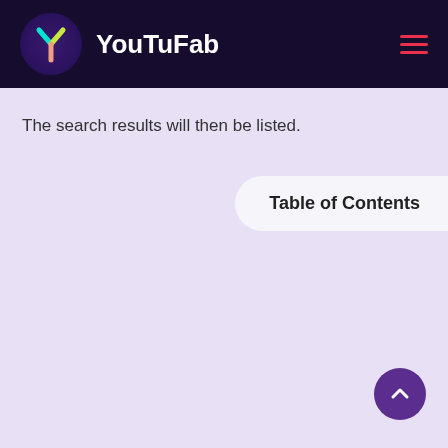YouTuFab
The search results will then be listed.
Table of Contents